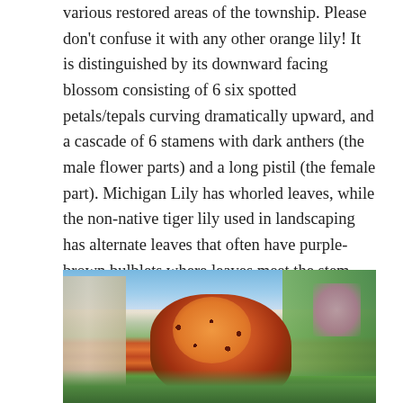various restored areas of the township. Please don't confuse it with any other orange lily! It is distinguished by its downward facing blossom consisting of 6 six spotted petals/tepals curving dramatically upward, and a cascade of 6 stamens with dark anthers (the male flower parts) and a long pistil (the female part). Michigan Lily has whorled leaves, while the non-native tiger lily used in landscaping has alternate leaves that often have purple-brown bulblets where leaves meet the stem. Monarchs (Danaus plexippus), Great Spangled Fritillaries (Speyeria cybele) and even Spicebush Swallowtail butterflies sip nectar from our dramatic Michigan lilies!
[Figure (photo): Photograph of a Michigan Lily flower with orange-red spotted petals curving upward, set against a background of trees and sky, with pink wildflowers visible in the upper right corner.]